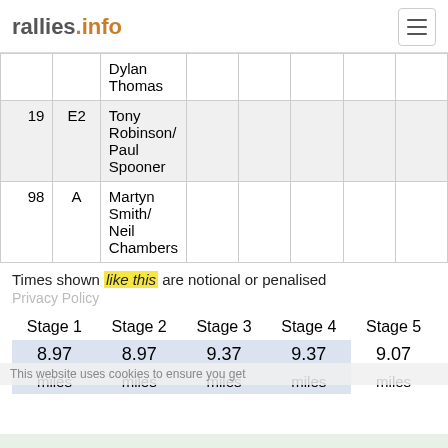rallies.info
| # | Class | Driver/Co-driver |  |  |  |  |  |
| --- | --- | --- | --- | --- | --- | --- | --- |
|  |  | Dylan Thomas |  |  |  |  |  |
| 19 | E2 | Tony Robinson/ Paul Spooner |  |  |  |  |  |
| 98 | A | Martyn Smith/ Neil Chambers |  |  |  |  |  |
Times shown like this are notional or penalised
| Stage 1 | Stage 2 | Stage 3 | Stage 4 | Stage 5 |
| --- | --- | --- | --- | --- |
| 8.97 | 8.97 | 9.37 | 9.37 | 9.07 |
| miles | miles | miles | miles | miles |